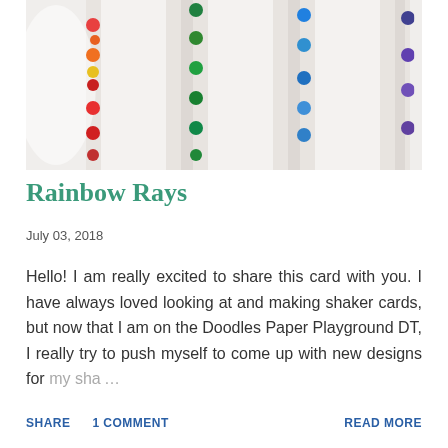[Figure (photo): Close-up photo of colorful sequins/beads visible through white slats or blinds, showing red, orange, yellow, green, teal, blue, and purple colors]
Rainbow Rays
July 03, 2018
Hello! I am really excited to share this card with you. I have always loved looking at and making shaker cards, but now that I am on the Doodles Paper Playground DT, I really try to push myself to come up with new designs for my sha…
SHARE   1 COMMENT   READ MORE